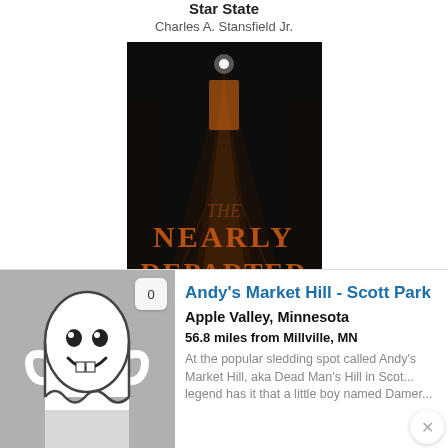Star State
Charles A. Stansfield Jr.
[Figure (photo): Book cover of 'The Nearly Departed: Minnesota Ghost Stories and Legends' by Michael Norman. Dark cover with hallway image and orange/brown text.]
The Nearly Departed: Minnesota Ghost Stories and Legends
Michael Norman
[Figure (illustration): Ghost icon (white cartoon ghost with smile on gray background) with a badge showing '0'. This is a location listing thumbnail.]
Andy's Market Hill - Scott Park
Apple Valley, Minnesota
56.8 miles from Millville, MN
At the popular sledding spot called Andy's Market Hill, aka Dead Man's Hill in Scott... legend has it that a little boy named Damer...